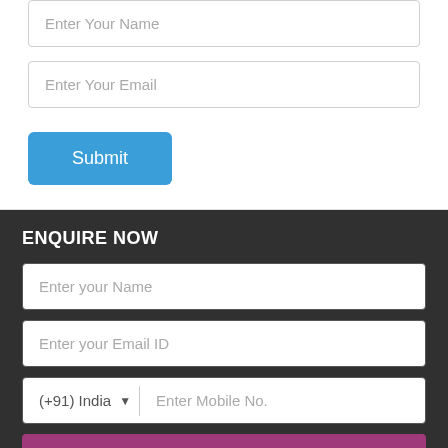Enter Your Name
Enter Your Email
Submit
ENQUIRE NOW
Enter your Name
Enter your Email ID
(+91) India — Enter Mobile No.
Submit